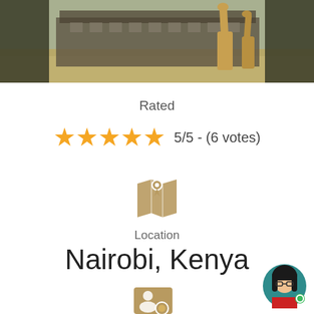[Figure (photo): Photo of giraffes in front of a building in a savanna landscape]
Rated
5/5 - (6 votes)
[Figure (illustration): Map/location pin icon in golden/tan color]
Location
Nairobi, Kenya
[Figure (illustration): Contact/person card icon in golden/tan color]
[Figure (illustration): Avatar of a woman with dark hair, glasses and red shirt, with green online indicator dot]